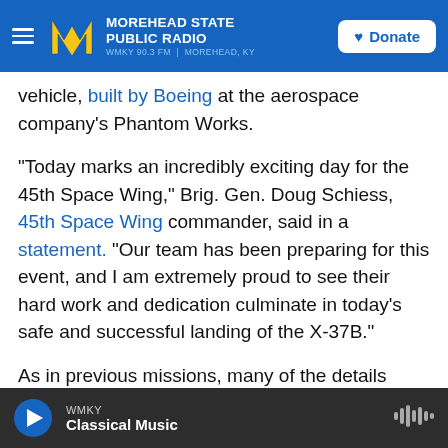MOREHEAD STATE PUBLIC RADIO — WMKY 90.3 FM | MOREHEAD, KY — Donate
vehicle, built by Boeing at the aerospace company's Phantom Works.
"Today marks an incredibly exciting day for the 45th Space Wing," Brig. Gen. Doug Schiess, 45th Space Wing commander, said in a statement. "Our team has been preparing for this event, and I am extremely proud to see their hard work and dedication culminate in today's safe and successful landing of the X-37B."
As in previous missions, many of the details about the vehicle's activities in the past two years are
WMKY — Classical Music